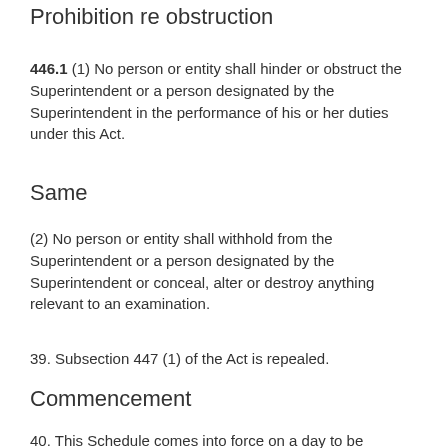Prohibition re obstruction
446.1  (1)  No person or entity shall hinder or obstruct the Superintendent or a person designated by the Superintendent in the performance of his or her duties under this Act.
Same
(2)  No person or entity shall withhold from the Superintendent or a person designated by the Superintendent or conceal, alter or destroy anything relevant to an examination.
39.  Subsection 447 (1) of the Act is repealed.
Commencement
40.  This Schedule comes into force on a day to be